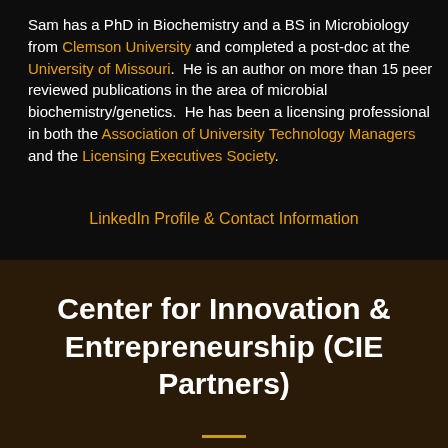Sam has a PhD in Biochemistry and a BS in Microbiology from Clemson University and completed a post-doc at the University of Missouri.  He is an author on more than 15 peer reviewed publications in the area of microbial biochemistry/genetics.  He has been a licensing professional in both the Association of University Technology Managers and the Licensing Executives Society.
LinkedIn Profile & Contact Information
Center for Innovation & Entrepreneurship (CIE Partners)